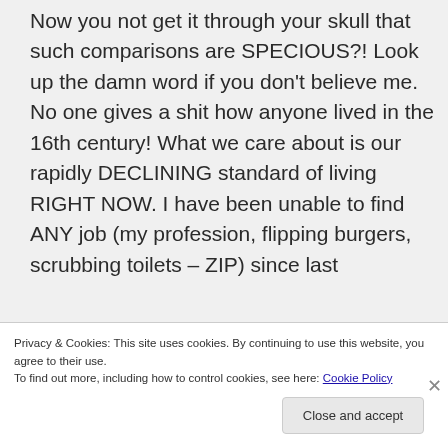Now you not get it through your skull that such comparisons are SPECIOUS?! Look up the damn word if you don't believe me. No one gives a shit how anyone lived in the 16th century! What we care about is our rapidly DECLINING standard of living RIGHT NOW. I have been unable to find ANY job (my profession, flipping burgers, scrubbing toilets – ZIP) since last
Privacy & Cookies: This site uses cookies. By continuing to use this website, you agree to their use.
To find out more, including how to control cookies, see here: Cookie Policy
Close and accept